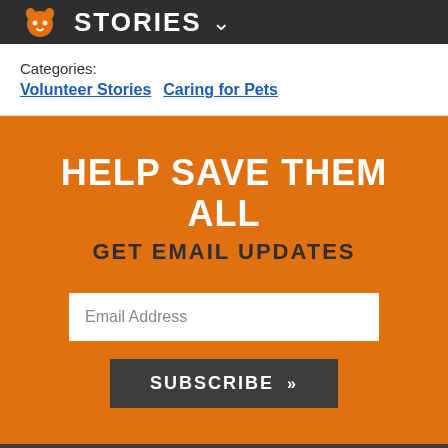STORIES
Categories: Volunteer Stories  Caring for Pets
HELP SAVE THEM ALL
GET EMAIL UPDATES
Email Address
SUBSCRIBE »
No-Kill 2025